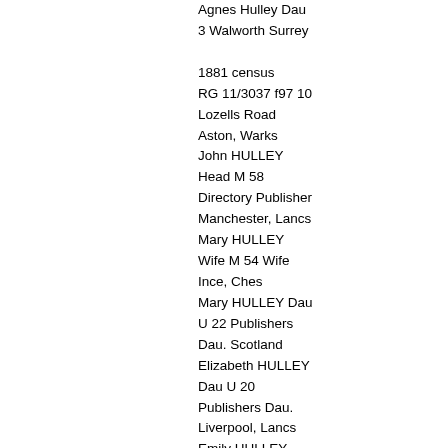Agnes Hulley Dau 3 Walworth Surrey

1881 census
RG 11/3037 f97 10
Lozells Road
Aston, Warks
John HULLEY
Head M 58
Directory Publisher
Manchester, Lancs
Mary HULLEY
Wife M 54 Wife
Ince, Ches
Mary HULLEY Dau
U 22 Publishers
Dau. Scotland
Elizabeth HULLEY
Dau U 20
Publishers Dau.
Liverpool, Lancs
Emily HULLEY
Dau U 19
Publishers Dau.
Northampton, Northampton
Agnes HULLEY
Dau 13 Schollar
Walworth